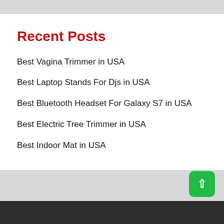Recent Posts
Best Vagina Trimmer in USA
Best Laptop Stands For Djs in USA
Best Bluetooth Headset For Galaxy S7 in USA
Best Electric Tree Trimmer in USA
Best Indoor Mat in USA